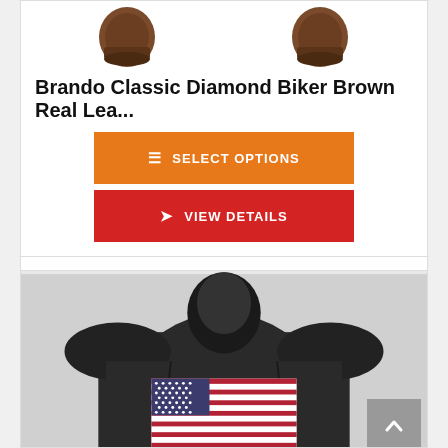[Figure (photo): Two brown leather jacket sleeves shown from back view]
Brando Classic Diamond Biker Brown Real Lea...
SELECT OPTIONS
VIEW DETAILS
$139.99
[Figure (photo): Back view of black leather biker jacket with American flag patch on the back]